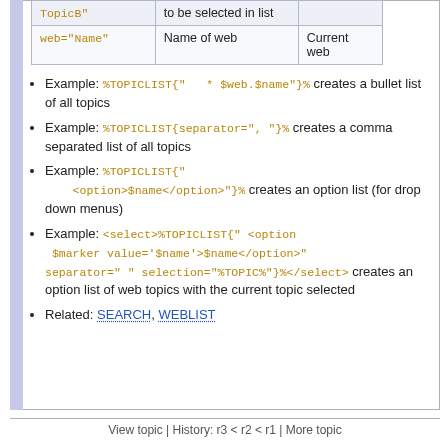| Parameter | Description | Default |
| --- | --- | --- |
| TopicB" | to be selected in list |  |
| web="Name" | Name of web | Current web |
Example: %TOPICLIST{"   * $web.$name"}% creates a bullet list of all topics
Example: %TOPICLIST{separator=", "}% creates a comma separated list of all topics
Example: %TOPICLIST{" <option>$name</option>"}% creates an option list (for drop down menus)
Example: <select>%TOPICLIST{" <option $marker value='$name'>$name</option>" separator=" " selection="%TOPIC%"}%</select> creates an option list of web topics with the current topic selected
Related: SEARCH, WEBLIST
View topic | History: r3 < r2 < r1 | More topic